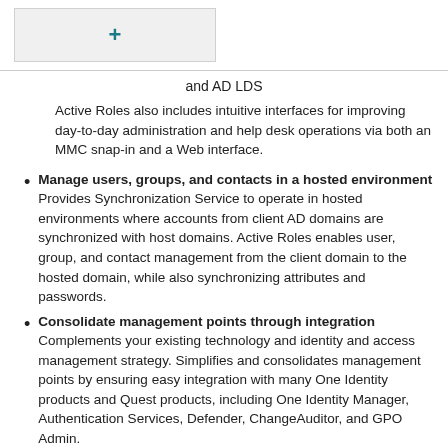[Figure (other): Expand/collapse button with a plus icon on grey background]
and AD LDS
Active Roles also includes intuitive interfaces for improving day-to-day administration and help desk operations via both an MMC snap-in and a Web interface.
Manage users, groups, and contacts in a hosted environment  Provides Synchronization Service to operate in hosted environments where accounts from client AD domains are synchronized with host domains. Active Roles enables user, group, and contact management from the client domain to the hosted domain, while also synchronizing attributes and passwords.
Consolidate management points through integration  Complements your existing technology and identity and access management strategy. Simplifies and consolidates management points by ensuring easy integration with many One Identity products and Quest products, including One Identity Manager, Authentication Services, Defender, ChangeAuditor, and GPO Admin.